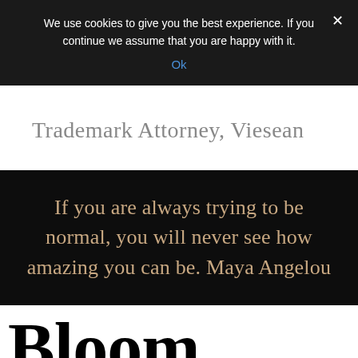We use cookies to give you the best experience. If you continue we assume that you are happy with it.
Ok
Trademark Attorney, Viesean
If you are always trying to be normal, you will never see how amazing you can be. Maya Angelou
Bloom